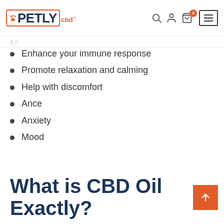PETLYcbd
Enhance your immune response
Promote relaxation and calming
Help with discomfort
Ance
Anxiety
Mood
What is CBD Oil Exactly?